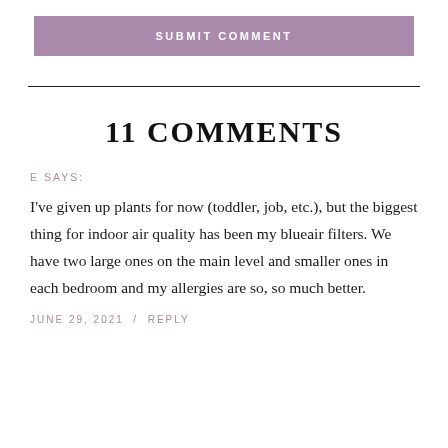SUBMIT COMMENT
11 COMMENTS
E SAYS:
I've given up plants for now (toddler, job, etc.), but the biggest thing for indoor air quality has been my blueair filters. We have two large ones on the main level and smaller ones in each bedroom and my allergies are so, so much better.
JUNE 29, 2021  /  REPLY